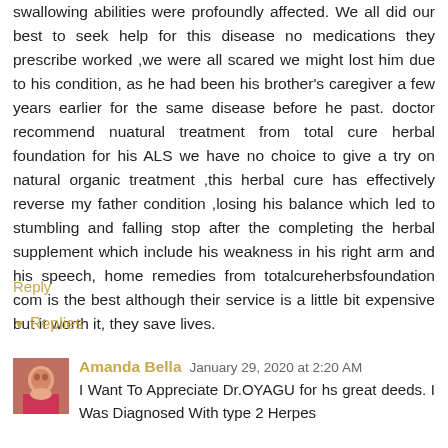swallowing abilities were profoundly affected. We all did our best to seek help for this disease no medications they prescribe worked ,we were all scared we might lost him due to his condition, as he had been his brother's caregiver a few years earlier for the same disease before he past. doctor recommend nuatural treatment from total cure herbal foundation for his ALS we have no choice to give a try on natural organic treatment ,this herbal cure has effectively reverse my father condition ,losing his balance which led to stumbling and falling stop after the completing the herbal supplement which include his weakness in his right arm and his speech, home remedies from totalcureherbsfoundation com is the best although their service is a little bit expensive but it worth it, they save lives.
Reply
Replies
Amanda Bella January 29, 2020 at 2:20 AM
I Want To Appreciate Dr.OYAGU for hs great deeds. I Was Diagnosed With type 2 Herpes